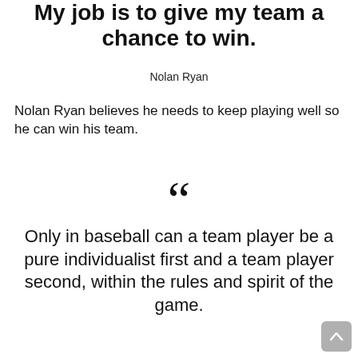My job is to give my team a chance to win.
Nolan Ryan
Nolan Ryan believes he needs to keep playing well so he can win his team.
[Figure (illustration): Large opening quotation mark symbol (decorative)]
Only in baseball can a team player be a pure individualist first and a team player second, within the rules and spirit of the game.